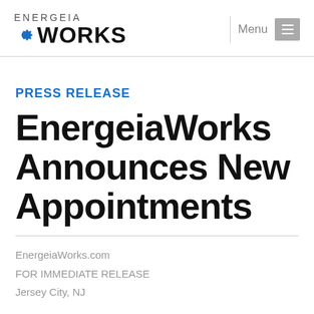ENERGEIA WORKS — Menu
PRESS RELEASE
EnergeiaWorks Announces New Appointments
EnergeiaWorks.com
FOR IMMEDIATE RELEASE
Jersey City, NJ